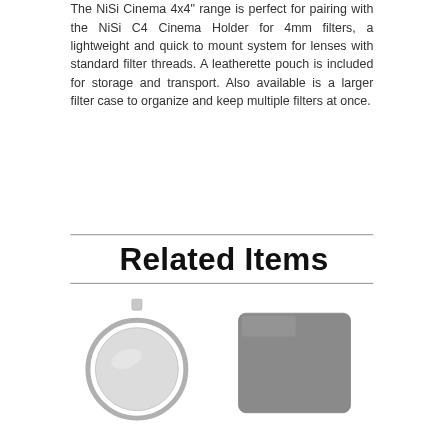The NiSi Cinema 4x4" range is perfect for pairing with the NiSi C4 Cinema Holder for 4mm filters, a lightweight and quick to mount system for lenses with standard filter threads. A leatherette pouch is included for storage and transport. Also available is a larger filter case to organize and keep multiple filters at once.
Related Items
[Figure (photo): Circular lens filter with silver metal ring and small attachment tab at top]
[Figure (photo): Square/rectangular gray filter with rounded corners]